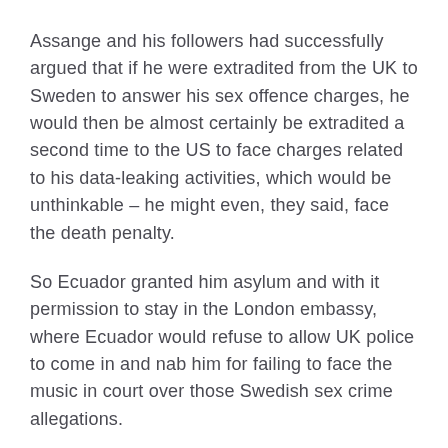Assange and his followers had successfully argued that if he were extradited from the UK to Sweden to answer his sex offence charges, he would then be almost certainly be extradited a second time to the US to face charges related to his data-leaking activities, which would be unthinkable – he might even, they said, face the death penalty.
So Ecuador granted him asylum and with it permission to stay in the London embassy, where Ecuador would refuse to allow UK police to come in and nab him for failing to face the music in court over those Swedish sex crime allegations.
Complicated!